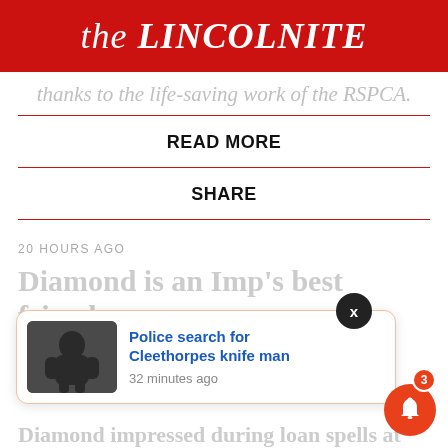the LINCOLNITE
thanks to the life-saving work of the RSPCA.
READ MORE
SHARE
20 HOURS AGO
Diamond is an Imp's best friend:
[Figure (screenshot): Notification popup: 'Police search for Cleethorpes knife man' with thumbnail image of a person in dark hoodie, 32 minutes ago]
Diamond impressed during loan spells at